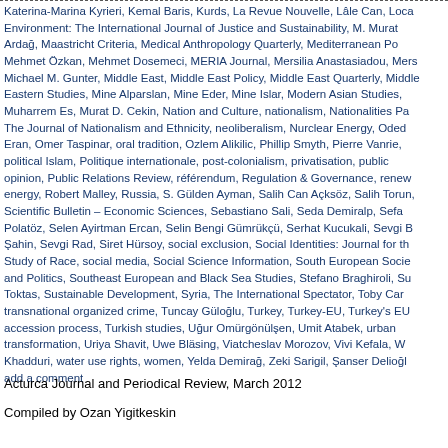Katerina-Marina Kyrieri, Kemal Baris, Kurds, La Revue Nouvelle, Lâle Can, Local Environment: The International Journal of Justice and Sustainability, M. Murat Ardağ, Maastricht Criteria, Medical Anthropology Quarterly, Mediterranean Po... Mehmet Özkan, Mehmet Dosemeci, MERIA Journal, Mersilia Anastasiadou, Mers... Michael M. Gunter, Middle East, Middle East Policy, Middle East Quarterly, Middle Eastern Studies, Mine Alparslan, Mine Eder, Mine Islar, Modern Asian Studies, Muharrem Es, Murat D. Cekin, Nation and Culture, nationalism, Nationalities Pa... The Journal of Nationalism and Ethnicity, neoliberalism, Nurclear Energy, Oded Eran, Omer Taspinar, oral tradition, Ozlem Alikilic, Phillip Smyth, Pierre Vanrie... political Islam, Politique internationale, post-colonialism, privatisation, public opinion, Public Relations Review, référendum, Regulation & Governance, renew... energy, Robert Malley, Russia, S. Gülden Ayman, Salih Can Açksöz, Salih Torun, Scientific Bulletin – Economic Sciences, Sebastiano Sali, Seda Demiralp, Sefa Polatöz, Selen Ayirtman Ercan, Selin Bengi Gümrükçü, Serhat Kucukali, Sevgi B... Şahin, Sevgi Rad, Siret Hürsoy, social exclusion, Social Identities: Journal for th... Study of Race, social media, Social Science Information, South European Socie... and Politics, Southeast European and Black Sea Studies, Stefano Braghiroli, Su... Toktas, Sustainable Development, Syria, The International Spectator, Toby Car... transnational organized crime, Tuncay Güloğlu, Turkey, Turkey-EU, Turkey's EU accession process, Turkish studies, Uğur Omürgönülşen, Umit Atabek, urban transformation, Uriya Shavit, Uwe Bläsing, Viatcheslav Morozov, Vivi Kefala, W... Khadduri, water use rights, women, Yelda Demirağ, Zeki Sarigil, Şanser Delioğl... add a comment
Acturca Journal and Periodical Review, March 2012
Compiled by Ozan Yigitkeskin